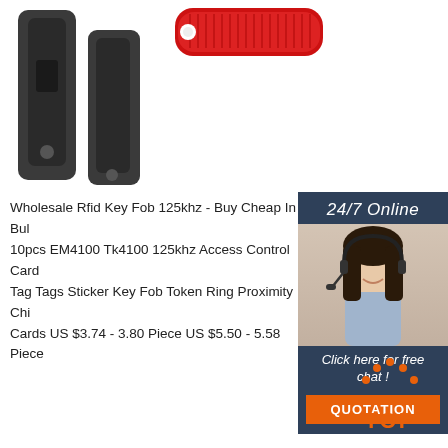[Figure (photo): Product images showing black RFID key fobs and a red RFID wristband/strap on white background]
[Figure (photo): Customer service representative (woman with headset) alongside 24/7 Online chat widget with dark blue background, 'Click here for free chat!' text and orange QUOTATION button]
Wholesale Rfid Key Fob 125khz - Buy Cheap In Bul 10pcs EM4100 Tk4100 125khz Access Control Card Tag Tags Sticker Key Fob Token Ring Proximity Chi Cards US $3.74 - 3.80 Piece US $5.50 - 5.58 Piece
[Figure (other): Orange 'Get Price' button]
[Figure (other): Orange TOP button with dots above, scroll-to-top indicator]